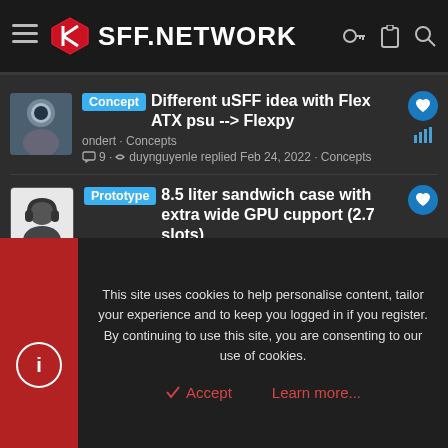SFF.NETWORK
Concept · Different uSFF idea with Flex ATX psu --> Flexpy
ondert · Concepts
9 · duynguyenle replied Feb 24, 2022 · Concepts
Prototype · 8.5 liter sandwich case with extra wide GPU cupport (2.7 slots)
CC Ricers · Concepts
158 · CC Ricers replied Jan 12, 2021 · Concepts
This site uses cookies to help personalise content, tailor your experience and to keep you logged in if you register.
By continuing to use this site, you are consenting to our use of cookies.